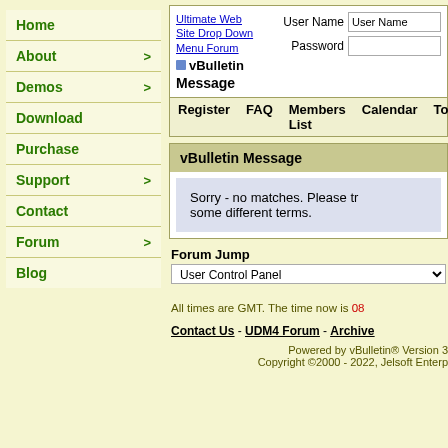Home
About >
Demos >
Download
Purchase
Support >
Contact
Forum >
Blog
Ultimate Web Site Drop Down Menu Forum vBulletin Message
User Name  Password
Register  FAQ  Members List  Calendar  Too
vBulletin Message
Sorry - no matches. Please tr some different terms.
Forum Jump
User Control Panel
All times are GMT. The time now is 08
Contact Us - UDM4 Forum - Archive
Powered by vBulletin® Version 3
Copyright ©2000 - 2022, Jelsoft Enterp